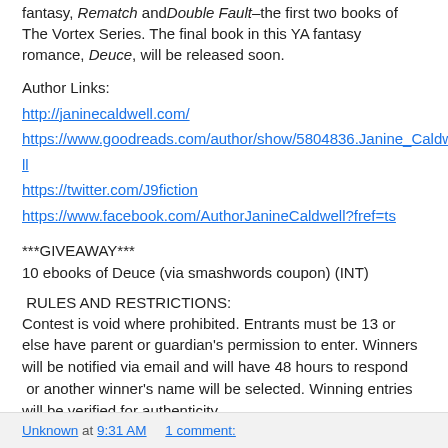fantasy, Rematch and Double Fault–the first two books of The Vortex Series. The final book in this YA fantasy romance, Deuce, will be released soon.
Author Links:
http://janinecaldwell.com/
https://www.goodreads.com/author/show/5804836.Janine_Caldwell
https://twitter.com/J9fiction
https://www.facebook.com/AuthorJanineCaldwell?fref=ts
***GIVEAWAY***
10 ebooks of Deuce (via smashwords coupon) (INT)
RULES AND RESTRICTIONS:
Contest is void where prohibited. Entrants must be 13 or else have parent or guardian's permission to enter. Winners will be notified via email and will have 48 hours to respond or another winner's name will be selected. Winning entries will be verified for authenticity.
a Rafflecopter giveaway
Unknown at 9:31 AM   1 comment: